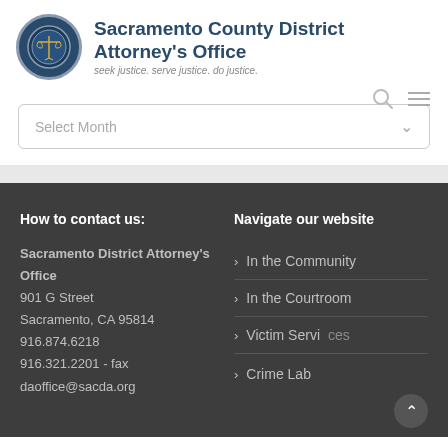Sacramento County District Attorney's Office — seek justice. serve justice. do justice.
Select Month
How to contact us:
Sacramento District Attorney's Office
901 G Street
Sacramento, CA 95814
916.874.6218
916.321.2201 - fax
daoffice@sacda.org
Navigate our website
In the Community
In the Courtroom
Victim Services
Crime Lab